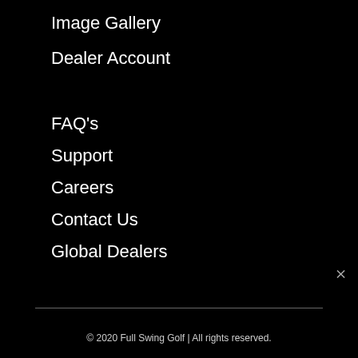Image Gallery
Dealer Account
FAQ's
Support
Careers
Contact Us
Global Dealers
© 2020 Full Swing Golf | All rights reserved.